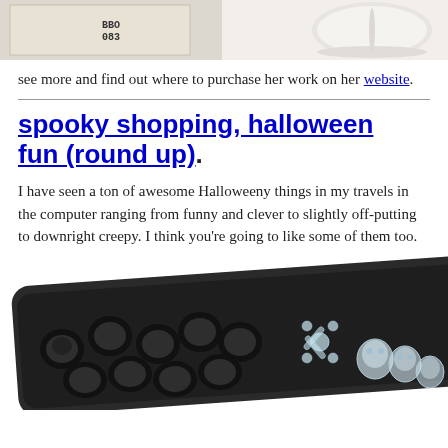[Figure (photo): Two product photos side by side at top: left shows a white bag/box with text markings, right shows a white ceramic mug or bowl on light background.]
see more and find out where to purchase her work on her website.
spooky shopping, halloween fun (round up)
I have seen a ton of awesome Halloweeny things in my travels in the computer ranging from funny and clever to slightly off-putting to downright creepy. I think you're going to like some of them too.
[Figure (photo): Halloween skull ice cube tray (dark/black silicone mold) with skeleton/crossbones ice cubes and small clear skull ice figures shown beside it.]